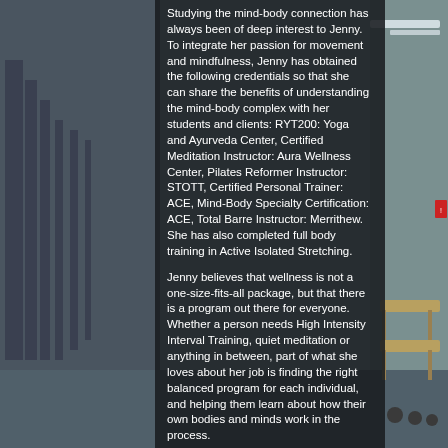[Figure (photo): Gym interior with exercise equipment, benches, and weights visible in the background. Dark semi-transparent overlay covers the center-left portion of the image.]
Studying the mind-body connection has always been of deep interest to Jenny. To integrate her passion for movement and mindfulness, Jenny has obtained the following credentials so that she can share the benefits of understanding the mind-body complex with her students and clients: RYT200: Yoga and Ayurveda Center, Certified Meditation Instructor: Aura Wellness Center, Pilates Reformer Instructor: STOTT, Certified Personal Trainer: ACE, Mind-Body Specialty Certification: ACE, Total Barre Instructor: Merrithew.  She has also completed full body training in Active Isolated Stretching.
Jenny believes that wellness is not a one-size-fits-all package, but that there is a program out there for everyone.  Whether a person needs High Intensity Interval Training, quiet meditation or anything in between, part of what she loves about her job is finding the right balanced program for each individual, and helping them learn about how their own bodies and minds work in the process.
As someone who has endured chronic back